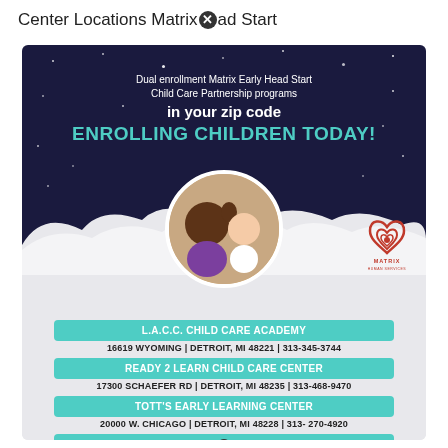Center Locations Matrix ⊗ad Start
[Figure (infographic): Matrix Human Services flyer for dual enrollment Matrix Early Head Start Child Care Partnership programs. Dark navy starry night sky top with text 'Dual enrollment Matrix Early Head Start Child Care Partnership programs in your zip code ENROLLING CHILDREN TODAY!' in teal bold. Cloud graphic with circular photo of two children. Matrix Human Services logo on right. Bottom gray section lists: L.A.C.C. CHILD CARE ACADEMY - 16619 WYOMING | DETROIT, MI 48221 | 313-345-3744; READY 2 LEARN CHILD CARE CENTER - 17300 SCHAEFER RD | DETROIT, MI 48235 | 313-468-9470; TOTT'S EARLY LEARNING CENTER - 20000 W. CHICAGO | DETROIT, MI 48228 | 313-270-4920; GREATER EBENEZER CHILD CARE CENTER (partial)]